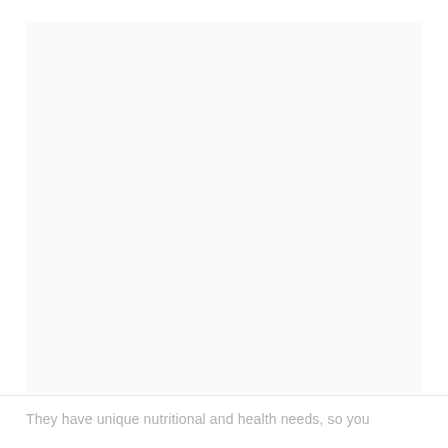[Figure (photo): A mostly blank or very lightly tinted rectangular image area, appearing nearly white/off-white with slight warmth.]
They have unique nutritional and health needs, so you